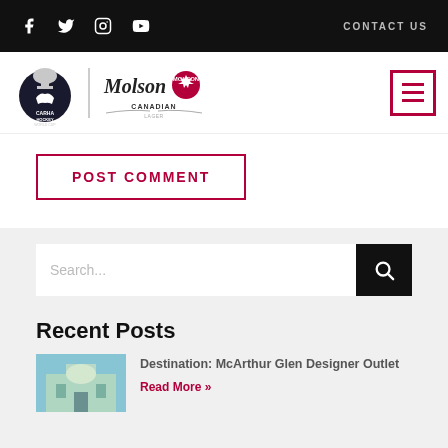Social icons: Facebook, Twitter, Instagram, YouTube | CONTACT US
[Figure (logo): CARHA Hockey World Cup logo and Molson Canadian logo with divider]
[Figure (other): Hamburger menu button (red border with three red lines)]
POST COMMENT
Search...
Recent Posts
Destination: McArthur Glen Designer Outlet
Read More »